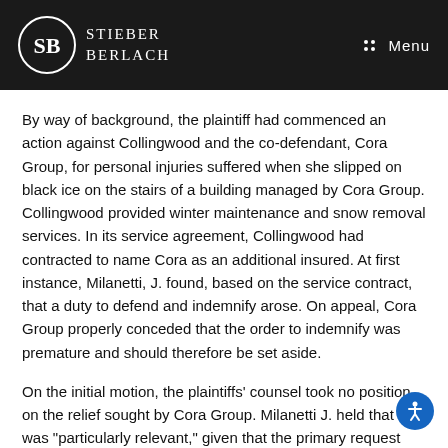STIEBER BERLACH
By way of background, the plaintiff had commenced an action against Collingwood and the co-defendant, Cora Group, for personal injuries suffered when she slipped on black ice on the stairs of a building managed by Cora Group. Collingwood provided winter maintenance and snow removal services. In its service agreement, Collingwood had contracted to name Cora as an additional insured. At first instance, Milanetti, J. found, based on the service contract, that a duty to defend and indemnify arose. On appeal, Cora Group properly conceded that the order to indemnify was premature and should therefore be set aside.
On the initial motion, the plaintiffs’ counsel took no position on the relief sought by Cora Group. Milanetti J. held that this was “particularly relevant,” given that the primary request was for dismissal of the claim as against the defendant property owners.